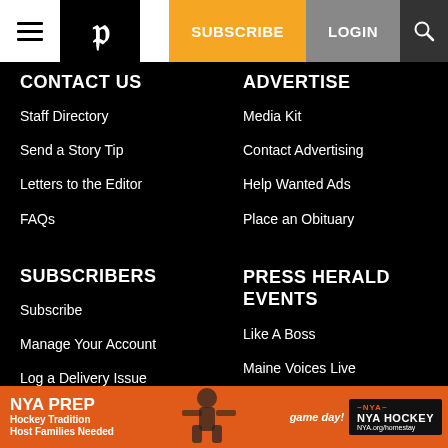Navigation bar with hamburger menu, Press Herald logo, SUBSCRIBE button, LOGIN button, search icon
CONTACT US
Staff Directory
Send a Story Tip
Letters to the Editor
FAQs
ADVERTISE
Media Kit
Contact Advertising
Help Wanted Ads
Place an Obituary
SUBSCRIBERS
Subscribe
Manage Your Account
Log a Delivery Issue
Subscriber Benefits
PRESS HERALD EVENTS
Like A Boss
Maine Voices Live
Business Series
[Figure (infographic): NYA PREP Hockey Tradition advertisement banner with orange background, hockey player image, NYA Hockey logo, and text: NYA PREP, Hockey Tradition, Host Families Needed, game day!, NYA.org/homestay]